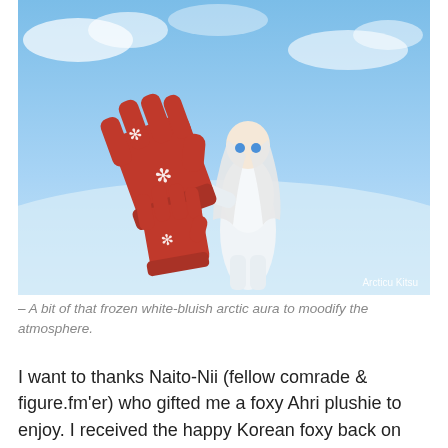[Figure (photo): A cosplayer or ball-jointed doll figure dressed in white outfit with white hair and blue eyes, wearing red gloves with white snowflake designs, posing outdoors in a snowy winter scene with a blue-sky background. Watermark 'Arcticu Kitsu' in bottom right corner.]
– A bit of that frozen white-bluish arctic aura to moodify the atmosphere.
I want to thanks Naito-Nii (fellow comrade & figure.fm'er) who gifted me a foxy Ahri plushie to enjoy. I received the happy Korean foxy back on the first week of January on the 7th on one of the coldest day. She arrived on a Kitsune Wednesday while the chipping was notified by a white chilli...